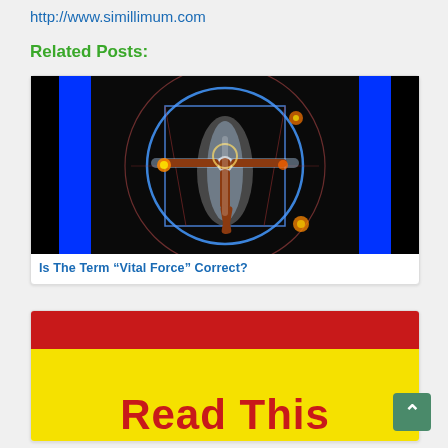http://www.simillimum.com
Related Posts:
[Figure (illustration): Vitruvian Man style illustration with glowing blue energy lines and aura on black background with bright blue vertical bars on sides]
Is The Term “Vital Force” Correct?
[Figure (illustration): Red and yellow banner with large bold red text reading 'Read This']